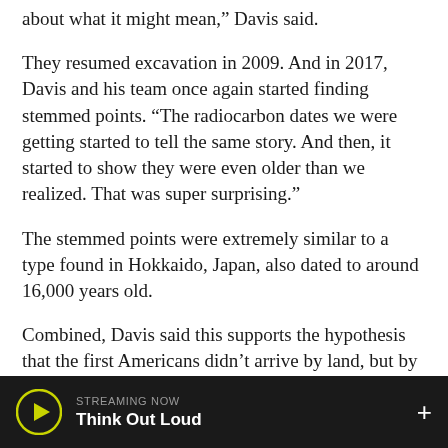about what it might mean," Davis said.
They resumed excavation in 2009. And in 2017, Davis and his team once again started finding stemmed points. “The radiocarbon dates we were getting started to tell the same story. And then, it started to show they were even older than we realized. That was super surprising.”
The stemmed points were extremely similar to a type found in Hokkaido, Japan, also dated to around 16,000 years old.
Combined, Davis said this supports the hypothesis that the first Americans didn’t arrive by land, but by boats.
STREAMING NOW Think Out Loud